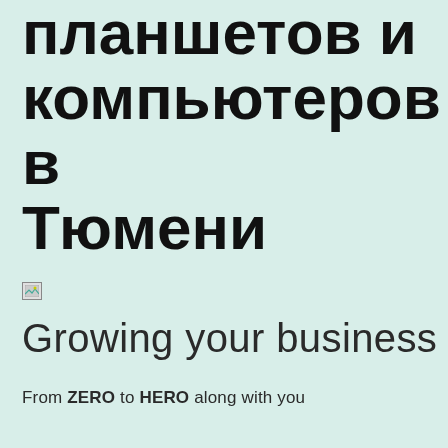планшетов и компьютеров в Тюмени
[Figure (illustration): Broken/missing image placeholder icon]
Growing your business
From ZERO to HERO along with you